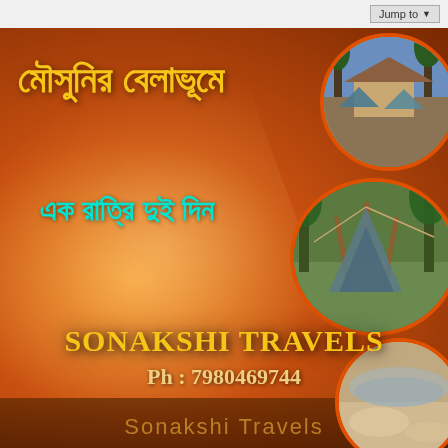[Figure (infographic): Travel advertisement poster with orange gradient background, Bengali title text in yellow 'মৌসুনির বেলাভূমে', subtitle in teal 'এক রাত্রি দুই দিন', three circular photos of camping/nature scenes on the right, company name SONAKSHI TRAVELS and phone number Ph: 7980469744 at bottom.]
মৌসুনির বেলাভূমে
এক রাত্রি দুই দিন
SONAKSHI TRAVELS
Ph : 7980469744